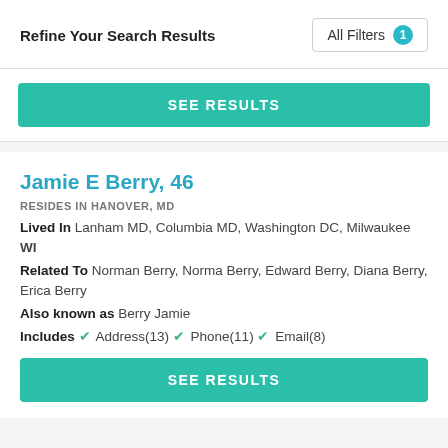Refine Your Search Results — All Filters 1
SEE RESULTS
Jamie E Berry, 46
RESIDES IN HANOVER, MD
Lived In Lanham MD, Columbia MD, Washington DC, Milwaukee WI
Related To Norman Berry, Norma Berry, Edward Berry, Diana Berry, Erica Berry
Also known as Berry Jamie
Includes ✓ Address(13) ✓ Phone(11) ✓ Email(8)
SEE RESULTS